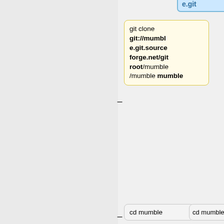[Figure (flowchart): Flowchart showing git commands: git clone git://mumble.git.sourceforge.net/gitroot/mumble/mumble mumble, cd mumble, git submodule init, git submodule update, and a text box starting with 'To use the v1.1.x branch'. Also shows parallel steps: e.git and cd mumble in a second column.]